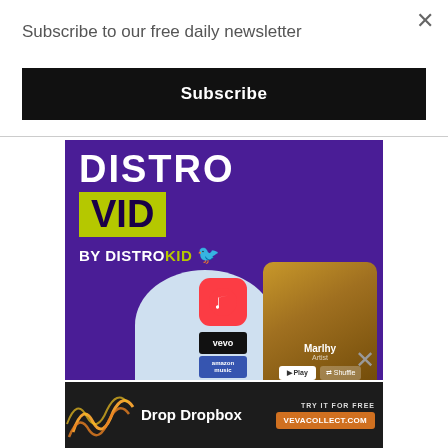Subscribe to our free daily newsletter
Subscribe
[Figure (screenshot): DistroVid by DistroKid advertisement showing the text DISTRO VID in large letters on a purple background, with BY DISTROKID text and a ghost mascot, and a phone mockup showing an artist named Marihy alongside app store icons including Apple Music and Vevo]
[Figure (screenshot): Bottom banner advertisement for VevaCollect.com showing Drop Dropbox text, orange sound wave graphic, TRY IT FOR FREE text, and VEVACOLLECT.COM orange button]